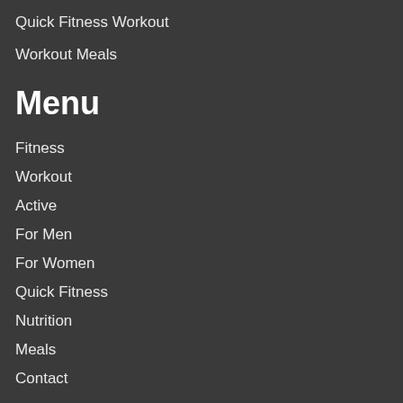Quick Fitness Workout
Workout Meals
Menu
Fitness
Workout
Active
For Men
For Women
Quick Fitness
Nutrition
Meals
Contact